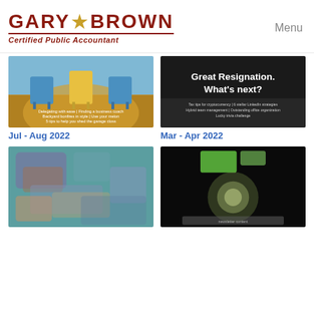GARY BROWN Certified Public Accountant | Menu
[Figure (screenshot): Thumbnail image of chairs with golden spotlight background, Jul-Aug 2022 newsletter]
Jul - Aug 2022
[Figure (screenshot): Dark thumbnail with text 'Great Resignation. What's next?' and subtitle text, Mar-Apr 2022 newsletter]
Mar - Apr 2022
[Figure (screenshot): Teal/blue blurred thumbnail image]
[Figure (screenshot): Dark black blurred thumbnail image with circular logo-like shape]